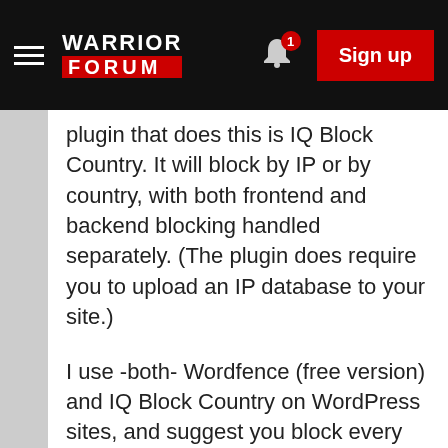WARRIOR FORUM — Sign up
plugin that does this is IQ Block Country. It will block by IP or by country, with both frontend and backend blocking handled separately. (The plugin does require you to upload an IP database to your site.)
I use -both- Wordfence (free version) and IQ Block Country on WordPress sites, and suggest you block every country, except your own, from the backend administrator side. Countries shown to be causing the most problems